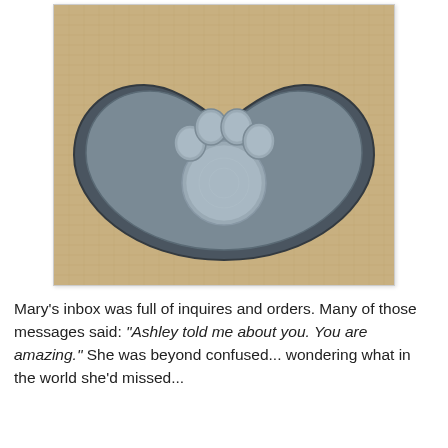[Figure (photo): A heart-shaped grey clay or stone keepsake with a raised paw print impression in the center, placed on a burlap/woven fabric background.]
Mary's inbox was full of inquires and orders. Many of those messages said: "Ashley told me about you. You are amazing." She was beyond confused... wondering what in the world she'd missed...